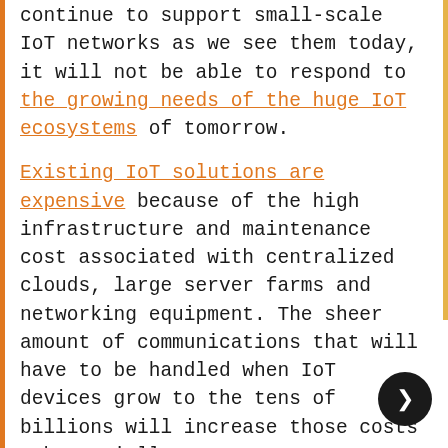computing devices for decades, and will continue to support small-scale IoT networks as we see them today, it will not be able to respond to the growing needs of the huge IoT ecosystems of tomorrow.
Existing IoT solutions are expensive because of the high infrastructure and maintenance cost associated with centralized clouds, large server farms and networking equipment. The sheer amount of communications that will have to be handled when IoT devices grow to the tens of billions will increase those costs substantially.
Even if the unprecedented economical and engineering challenges are overcome, cloud servers will remain a bottleneck and point of